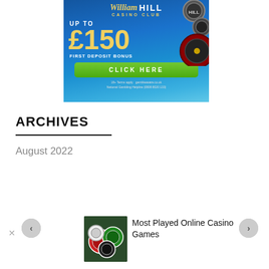[Figure (illustration): William Hill Casino Club advertisement banner. Blue background with casino chips and roulette wheel. Text: UP TO £150 FIRST DEPOSIT BONUS. Green button: CLICK HERE. Disclaimer: 18+ Terms apply gambleaware.co.uk National Gambling Helpline (0808 8020 133)]
ARCHIVES
August 2022
[Figure (photo): Thumbnail image of colourful casino chips (red, green, black, white) stacked together.]
Most Played Online Casino Games